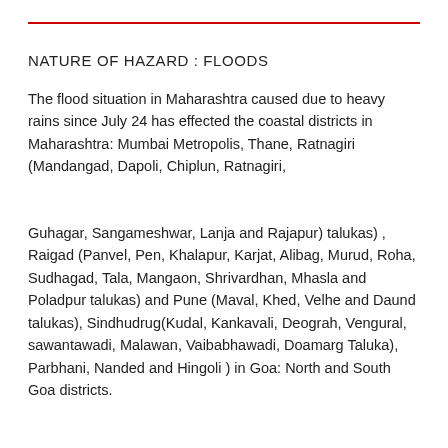NATURE OF HAZARD : FLOODS
The flood situation in Maharashtra caused due to heavy rains since July 24 has effected the coastal districts in Maharashtra: Mumbai Metropolis, Thane, Ratnagiri (Mandangad, Dapoli, Chiplun, Ratnagiri,
Guhagar, Sangameshwar, Lanja and Rajapur) talukas) , Raigad (Panvel, Pen, Khalapur, Karjat, Alibag, Murud, Roha, Sudhagad, Tala, Mangaon, Shrivardhan, Mhasla and Poladpur talukas) and Pune (Maval, Khed, Velhe and Daund talukas), Sindhudrug(Kudal, Kankavali, Deograh, Vengural, sawantawadi, Malawan, Vaibabhawadi, Doamarg Taluka), Parbhani, Nanded and Hingoli ) in Goa: North and South Goa districts.